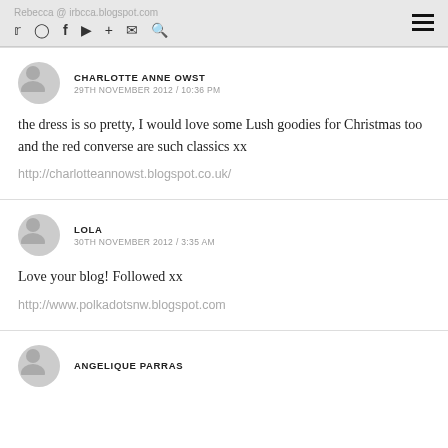Rebecca @ irbcca.blogspot.com
CHARLOTTE ANNE OWST
29TH NOVEMBER 2012 / 10:36 PM
the dress is so pretty, I would love some Lush goodies for Christmas too and the red converse are such classics xx
http://charlotteannowst.blogspot.co.uk/
LOLA
30TH NOVEMBER 2012 / 3:35 AM
Love your blog! Followed xx
http://www.polkadotsnw.blogspot.com
ANGELIQUE PARRAS